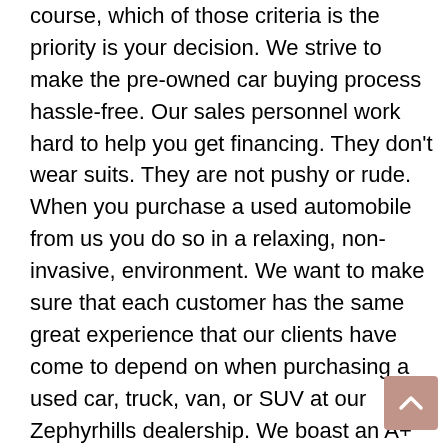course, which of those criteria is the priority is your decision. We strive to make the pre-owned car buying process hassle-free. Our sales personnel work hard to help you get financing. They don't wear suits. They are not pushy or rude. When you purchase a used automobile from us you do so in a relaxing, non-invasive, environment. We want to make sure that each customer has the same great experience that our clients have come to depend on when purchasing a used car, truck, van, or SUV at our Zephyrhills dealership. We boast an A+ Rating with the Better Business Bureau and the Thomas and Son name has a reputation of honesty and good service from here at home to Wesley Chapel and Dade City and throughout Pasco County and extending to Tampa and Lakeland. For years our service center was exclusively for our customers so that they could come to us for discounted prices and competent repair work. Not long ago we opened that service center to